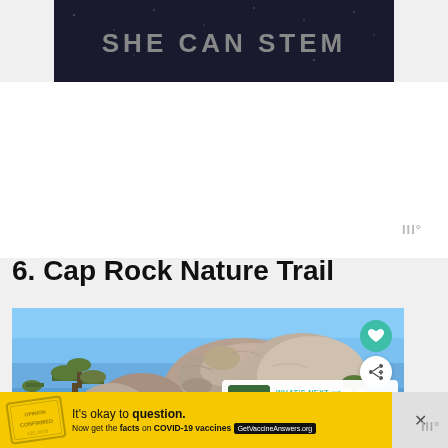[Figure (screenshot): SHE CAN STEM advertisement banner with dark background and grey text]
6. Cap Rock Nature Trail
[Figure (photo): Outdoor photo of large granite boulders and Joshua trees against a clear blue sky at Cap Rock Nature Trail, with UI overlay buttons (heart, share) and a What's Next panel showing Tips for Visiting...]
WHAT'S NEXT → Tips for Visiting...
[Figure (screenshot): Yellow advertisement banner: It's okay to question. Now get the facts on COVID-19 vaccines. GetVaccineAnswers.org]